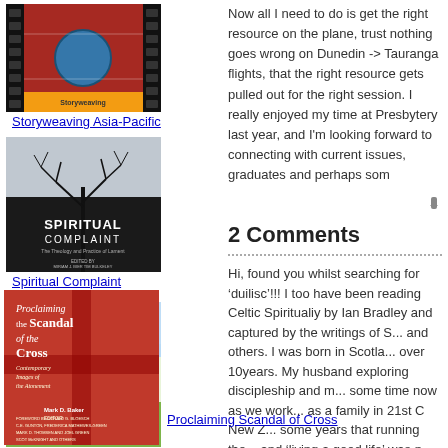[Figure (illustration): Book cover: Storyweaving Asia-Pacific, colorful abstract design with blue circle and red/black patterns]
Storyweaving Asia-Pacific
[Figure (illustration): Book cover: Spiritual Complaint, dark background with bare tree branches, authors Miriam J. Bier and Tim Bulkeley]
Spiritual Complaint
[Figure (illustration): Book cover: The Gospel after Christendom, green trees on light background, editor Ryan K. Bolger]
Gospel after Christendom
[Figure (illustration): Book cover: Proclaiming the Scandal of the Cross, red cover with cross graphic, Mark D. Baker editor]
Proclaiming Scandal of Cross
Now all I need to do is get the right resource on the plane, trust nothing goes wrong on Dunedin -> Tauranga flights, that the right resource gets pulled out for the right session. I really enjoyed my time at Presbytery last year, and I'm looking forward to connecting with current issues, graduates and perhaps som
2 Comments
Hi, found you whilst searching for 'duilisc'!!! I too have been reading Celtic Spiritualiy by Ian Bradley and captured by the writings of S... and others. I was born in Scotla... over 10years. My husband exploring discipleship and m... some time now as we work... as a family in 21st C New Z... some years that running the... and 'living a good life' was n... Christ in His great commiss... pioneering...along with man... in creating a 'new' old wa...